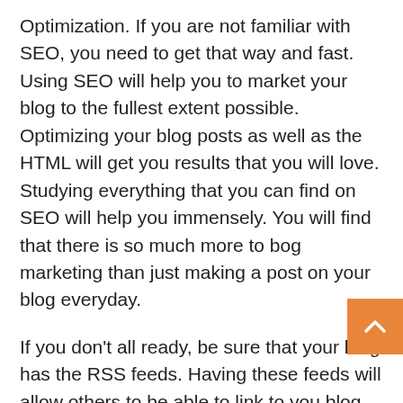Optimization. If you are not familiar with SEO, you need to get that way and fast. Using SEO will help you to market your blog to the fullest extent possible. Optimizing your blog posts as well as the HTML will get you results that you will love. Studying everything that you can find on SEO will help you immensely. You will find that there is so much more to bog marketing than just making a post on your blog everyday.
If you don't all ready, be sure that your blog has the RSS feeds. Having these feeds will allow others to be able to link to you blog. Having many links a huge part of blog marketing that you want to take advantage of as well. When someone uses the RSS feeds from your blog, they are able to get the posts that you make, will give you a link back from their blog, or website, whichever they posted it on.